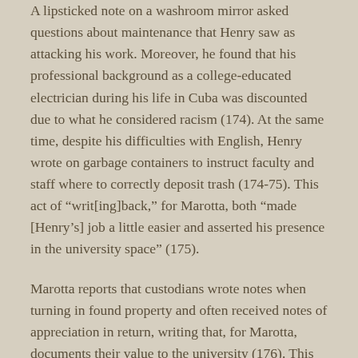A lipsticked note on a washroom mirror asked questions about maintenance that Henry saw as attacking his work. Moreover, he found that his professional background as a college-educated electrician during his life in Cuba was discounted due to what he considered racism (174). At the same time, despite his difficulties with English, Henry wrote on garbage containers to instruct faculty and staff where to correctly deposit trash (174-75). This act of “writ[ing]back,” for Marotta, both “made [Henry’s] job a little easier and asserted his presence in the university space” (175).
Marotta reports that custodians wrote notes when turning in found property and often received notes of appreciation in return, writing that, for Marotta, documents their value to the university (176). This aspect of “writing to serve” is further illustrated with her study of “Jesus,” whose friendliness and collegiality across the university class tiers earned him written testaments to his worth to the institution from both the university and an individual